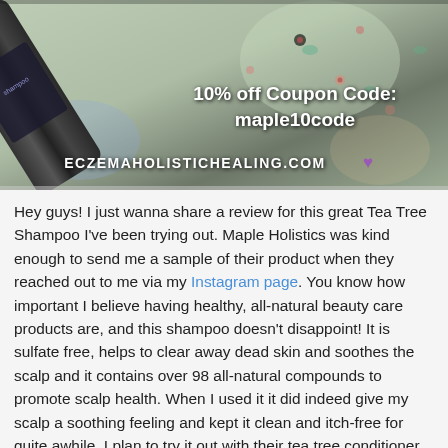[Figure (photo): A dark bottle (Tea Tree Shampoo) lying on a floral fabric/blanket background, with overlay text showing '10% off Coupon Code: maple10code' and the website 'ECZEMAHOLISTICHEALING.COM' with a purple heart emoji]
Hey guys! I just wanna share a review for this great Tea Tree Shampoo I've been trying out. Maple Holistics was kind enough to send me a sample of their product when they reached out to me via my Instagram page. You know how important I believe having healthy, all-natural beauty care products are, and this shampoo doesn't disappoint! It is sulfate free, helps to clear away dead skin and soothes the scalp and it contains over 98 all-natural compounds to promote scalp health. When I used it it did indeed give my scalp a soothing feeling and kept it clean and itch-free for quite awhile. I plan to try it out with their tea tree conditioner in the future.